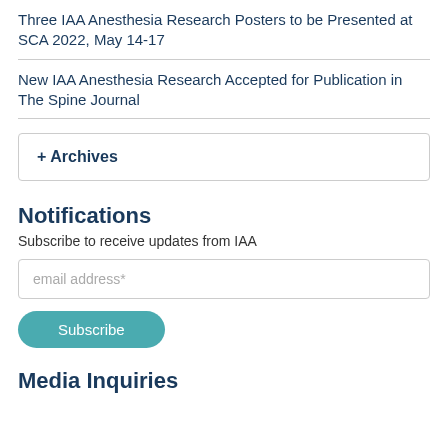Three IAA Anesthesia Research Posters to be Presented at SCA 2022, May 14-17
New IAA Anesthesia Research Accepted for Publication in The Spine Journal
+ Archives
Notifications
Subscribe to receive updates from IAA
email address*
Subscribe
Media Inquiries